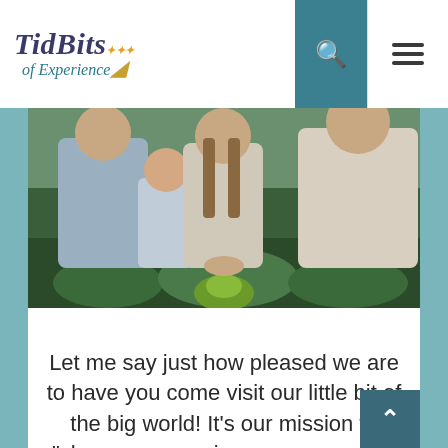[Figure (logo): TidBits of Experience website logo with colorful dots and crescent moon accent]
[Figure (photo): Family with adults and a child seen from behind, crouching over green leafy plants outdoors in a forest setting]
Let me say just how pleased we are to have you come visit our little bit of the big world! It's our mission to "share our experiences, so you can make the most of yours." We have plenty of lessons we've learned along the way that we feel can help you make your life better.